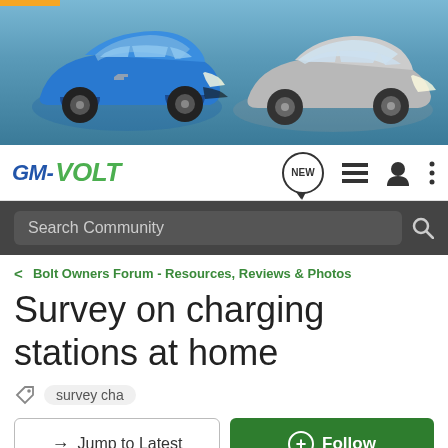[Figure (photo): Banner image showing two Chevrolet electric cars (blue Bolt on left, silver Volt on right) against a scenic sky background with mountains]
[Figure (logo): GM-VOLT logo with GM in blue italic and VOLT in green italic, alongside navigation icons including NEW speech bubble, menu list, profile, and more options]
Search Community
Bolt Owners Forum - Resources, Reviews & Photos
Survey on charging stations at home
survey cha
→ Jump to Latest
+ Follow
1 - 3 of 3 Posts